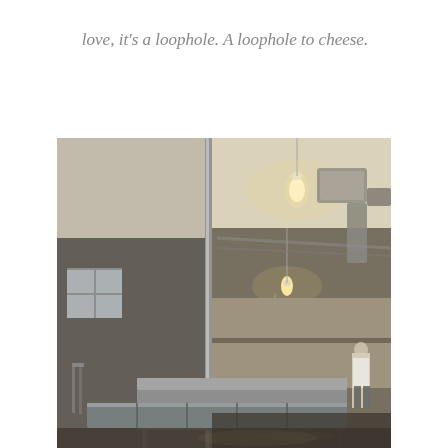love, it's a loophole. A loophole to cheese.
[Figure (photo): Interior view of an industrial cheese-making facility or commercial kitchen, photographed through a glass window/wall with a vertical metal divider. The space shows a large room with pendant industrial lights hanging from the ceiling illuminating the area with warm light, stainless steel equipment and work tables, pipes and ductwork running along the ceiling, a brick wall in the background, and a person visible on the right side. The floor appears wet and reflective.]